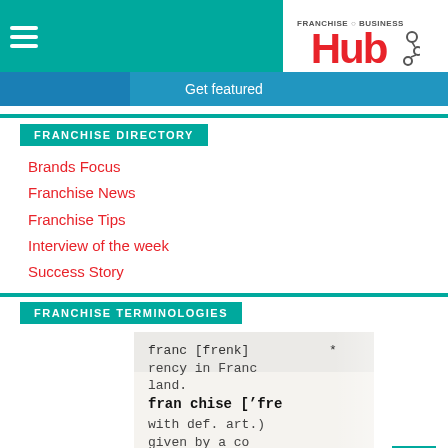Franchise Business Hub
Get featured
FRANCHISE DIRECTORY
Brands Focus
Franchise News
Franchise Tips
Interview of the week
Success Story
FRANCHISE TERMINOLOGIES
[Figure (photo): Close-up of a dictionary page showing the entry for 'franchise' with phonetic transcription]
Term Of The Day